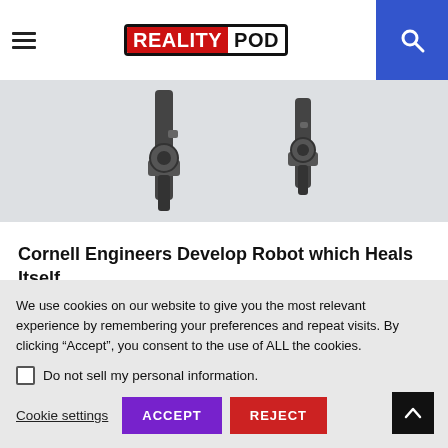RealityPod
[Figure (photo): Partial view of a robotic arm mechanism against a light grey background, showing mechanical joints and dark metal components.]
Cornell Engineers Develop Robot which Heals Itself
GET IN TOUCH
We use cookies on our website to give you the most relevant experience by remembering your preferences and repeat visits. By clicking “Accept”, you consent to the use of ALL the cookies.
Do not sell my personal information.
Cookie settings  ACCEPT  REJECT